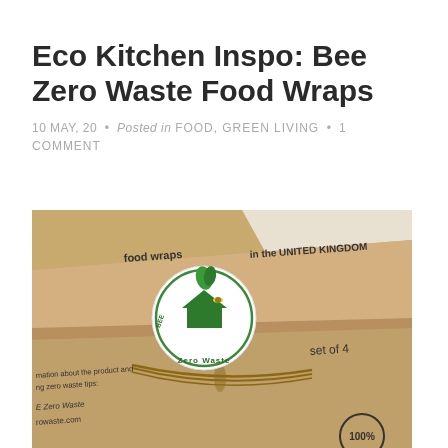Eco Kitchen Inspo: Bee Zero Waste Food Wraps
10 MAY, 20 • Posted in FOOD, GREEN LIVING • 1 COMMENT
[Figure (photo): Photo of Bee Zero Waste food wraps packaging — brown kraft paper packages tied with twine, showing a circular green logo with 'BEE Zero Waste' text and a house icon, text reading 'food wraps', 'in the UNITED KINGDOM', 'set of 4', '100%', partial text including 'mation about the product and', 'ng zero waste tips:', 'E Zero Waste', 'rowaste.com']